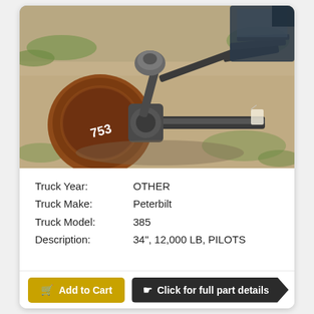[Figure (photo): Truck front axle assembly with brake drum, steering components, and suspension parts laid out on dirt/gravel ground outdoors. A number written in white on the drum reads '753'.]
Truck Year: OTHER
Truck Make: Peterbilt
Truck Model: 385
Description: 34", 12,000 LB, PILOTS
Add to Cart
Click for full part details